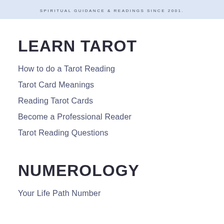SPIRITUAL GUIDANCE & READINGS SINCE 2001.
LEARN TAROT
How to do a Tarot Reading
Tarot Card Meanings
Reading Tarot Cards
Become a Professional Reader
Tarot Reading Questions
NUMEROLOGY
Your Life Path Number